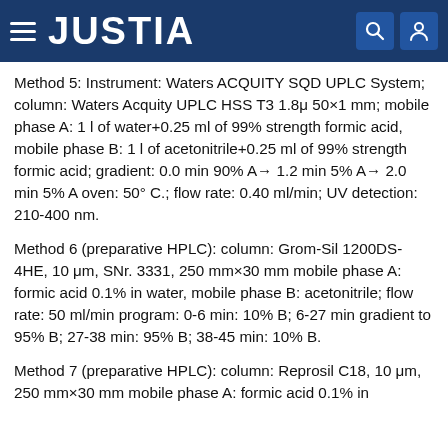JUSTIA
Method 5: Instrument: Waters ACQUITY SQD UPLC System; column: Waters Acquity UPLC HSS T3 1.8μ 50×1 mm; mobile phase A: 1 l of water+0.25 ml of 99% strength formic acid, mobile phase B: 1 l of acetonitrile+0.25 ml of 99% strength formic acid; gradient: 0.0 min 90% A→ 1.2 min 5% A→ 2.0 min 5% A oven: 50° C.; flow rate: 0.40 ml/min; UV detection: 210-400 nm.
Method 6 (preparative HPLC): column: Grom-Sil 1200DS-4HE, 10 μm, SNr. 3331, 250 mm×30 mm mobile phase A: formic acid 0.1% in water, mobile phase B: acetonitrile; flow rate: 50 ml/min program: 0-6 min: 10% B; 6-27 min gradient to 95% B; 27-38 min: 95% B; 38-45 min: 10% B.
Method 7 (preparative HPLC): column: Reprosil C18, 10 μm, 250 mm×30 mm mobile phase A: formic acid 0.1% in